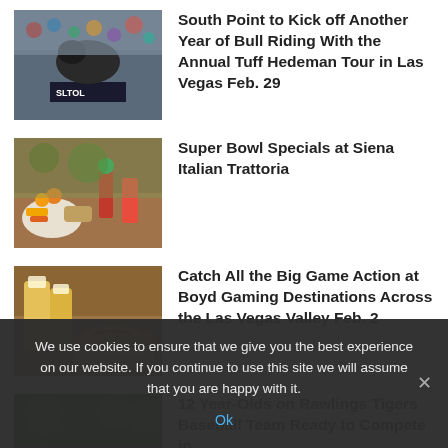[Figure (photo): Bull riding event crowd photo with SLTOL banner]
South Point to Kick off Another Year of Bull Riding With the Annual Tuff Hedeman Tour in Las Vegas Feb. 29
[Figure (photo): Super Bowl food and drinks spread including cocktails and appetizers]
Super Bowl Specials at Siena Italian Trattoria
[Figure (photo): Beer glasses and hot dogs on a table]
Catch All the Big Game Action at Boyd Gaming Destinations Across the Las Vegas Valley Feb. 2
[Figure (photo): Group of young baseball players outdoors]
12 Year-Olds on Rawlings Tigers Baseball Team Ready to Compete in...
We use cookies to ensure that we give you the best experience on our website. If you continue to use this site we will assume that you are happy with it.
Ok